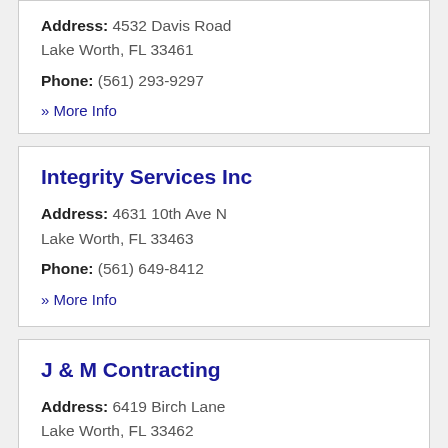Address: 4532 Davis Road Lake Worth, FL 33461
Phone: (561) 293-9297
» More Info
Integrity Services Inc
Address: 4631 10th Ave N Lake Worth, FL 33463
Phone: (561) 649-8412
» More Info
J & M Contracting
Address: 6419 Birch Lane Lake Worth, FL 33462